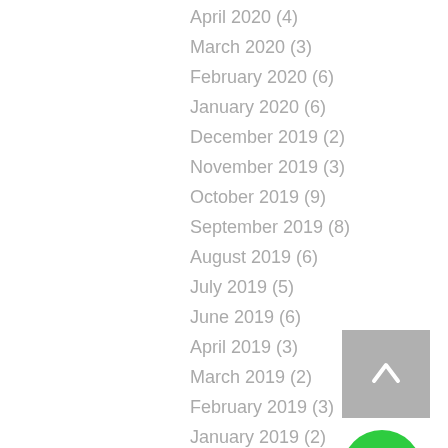April 2020 (4)
March 2020 (3)
February 2020 (6)
January 2020 (6)
December 2019 (2)
November 2019 (3)
October 2019 (9)
September 2019 (8)
August 2019 (6)
July 2019 (5)
June 2019 (6)
April 2019 (3)
March 2019 (2)
February 2019 (3)
January 2019 (2)
December 2018 (1)
November 2018 (4)
October 2018 (2)
September 2018 (5)
August 2018 (6)
July 2018 (1)
May 2018 (3)